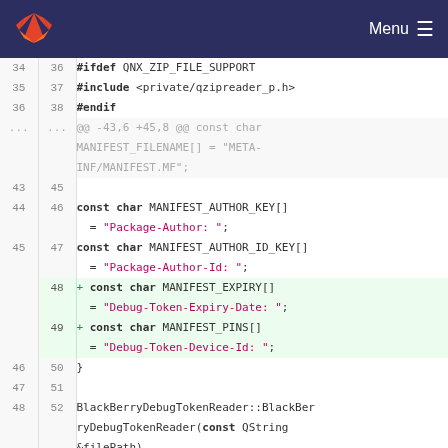[Figure (screenshot): GitLab navigation bar with logo and Menu button]
Code diff view showing changes to a C++ source file. Lines 34-52 visible, with two added lines (48, 49) showing MANIFEST_EXPIRY and MANIFEST_PINS constants.